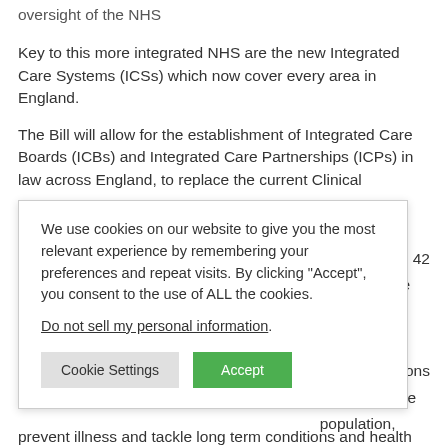oversight of the NHS
Key to this more integrated NHS are the new Integrated Care Systems (ICSs) which now cover every area in England.
The Bill will allow for the establishment of Integrated Care Boards (ICBs) and Integrated Care Partnerships (ICPs) in law across England, to replace the current Clinical
inning for the 42
country since
together the
er organisations
cial enterprise
population,
We use cookies on our website to give you the most relevant experience by remembering your preferences and repeat visits. By clicking “Accept”, you consent to the use of ALL the cookies.
Do not sell my personal information.
Cookie Settings  Accept
prevent illness and tackle long term conditions and health